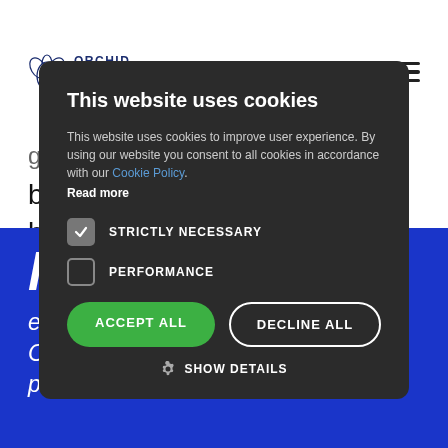[Figure (logo): Orchid Rehabilitation logo with orchid flower graphic and text]
been told they would be bed bound are now walking
hid
ess, as the Orchid has amazing regeneration powers,
This website uses cookies

This website uses cookies to improve user experience. By using our website you consent to all cookies in accordance with our Cookie Policy.
Read more

STRICTLY NECESSARY
PERFORMANCE

ACCEPT ALL   DECLINE ALL

SHOW DETAILS